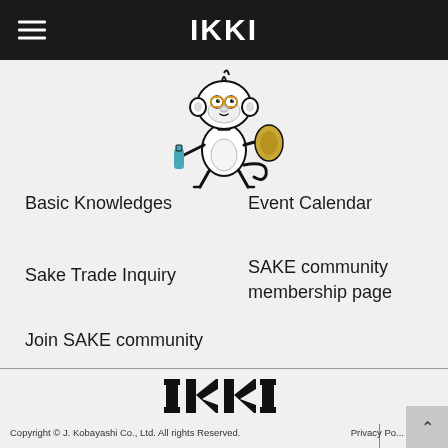IKKI
[Figure (illustration): Cartoon monkey mascot character holding a sake bottle, wearing glasses, black and white with orange/yellow accents]
Basic Knowledges
Event Calendar
Sake Trade Inquiry
SAKE community membership page
Join SAKE community
[Figure (logo): IKKI logo in bold black text]
Copyright © J. Kobayashi Co., Ltd. All rights Reserved.
Privacy Po...